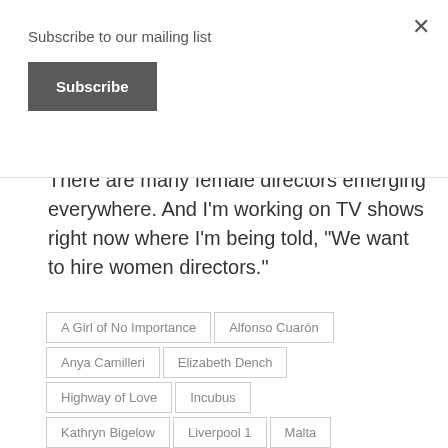Subscribe to our mailing list
Subscribe
There are many female directors emerging everywhere. And I'm working on TV shows right now where I'm being told, “We want to hire women directors.”
A Girl of No Importance
Alfonso Cuarón
Anya Camilleri
Elizabeth Dench
Highway of Love
Incubus
Kathryn Bigelow
Liverpool 1
Malta
Mark Morgan
NY-LON
premium
Rashida Jones
saam
Seifert Dench